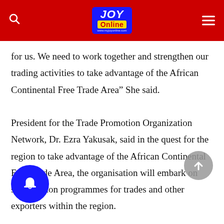Joy Online
for us. We need to work together and strengthen our trading activities to take advantage of the African Continental Free Trade Area” She said.
President for the Trade Promotion Organization Network, Dr. Ezra Yakusak, said in the quest for the region to take advantage of the African Continental Free Trade Area, the organisation will embark on sensitisation programmes for trades and other exporters within the region.
“We are going to achieve this by a sensitisation